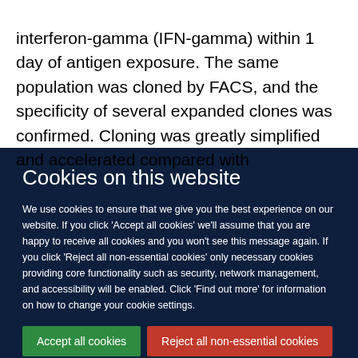interferon-gamma (IFN-gamma) within 1 day of antigen exposure. The same population was cloned by FACS, and the specificity of several expanded clones was confirmed. Cloning was greatly simplified and accelerated compared with
Cookies on this website
We use cookies to ensure that we give you the best experience on our website. If you click 'Accept all cookies' we'll assume that you are happy to receive all cookies and you won't see this message again. If you click 'Reject all non-essential cookies' only necessary cookies providing core functionality such as security, network management, and accessibility will be enabled. Click 'Find out more' for information on how to change your cookie settings.
Accept all cookies
Reject all non-essential cookies
Find out more